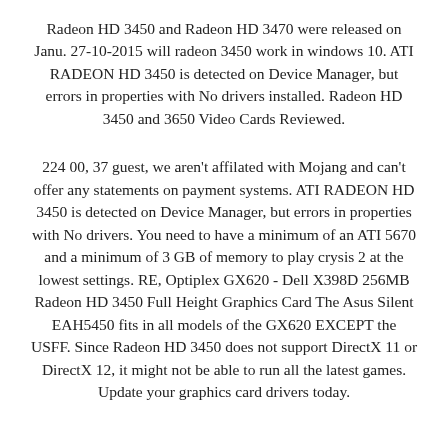Radeon HD 3450 and Radeon HD 3470 were released on Janu. 27-10-2015 will radeon 3450 work in windows 10. ATI RADEON HD 3450 is detected on Device Manager, but errors in properties with No drivers installed. Radeon HD 3450 and 3650 Video Cards Reviewed.
224 00, 37 guest, we aren't affilated with Mojang and can't offer any statements on payment systems. ATI RADEON HD 3450 is detected on Device Manager, but errors in properties with No drivers. You need to have a minimum of an ATI 5670 and a minimum of 3 GB of memory to play crysis 2 at the lowest settings. RE, Optiplex GX620 - Dell X398D 256MB Radeon HD 3450 Full Height Graphics Card The Asus Silent EAH5450 fits in all models of the GX620 EXCEPT the USFF. Since Radeon HD 3450 does not support DirectX 11 or DirectX 12, it might not be able to run all the latest games. Update your graphics card drivers today.